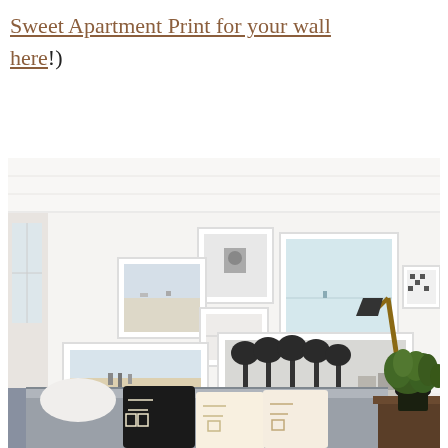Sweet Apartment Print for your wall here!)
[Figure (photo): Living room interior with a gallery wall featuring multiple framed photos in white frames, including black and white photos of palm trees and beach scenes. A grey sofa with decorative pillows is in the foreground, with a brass floor lamp and a plant on a side table.]